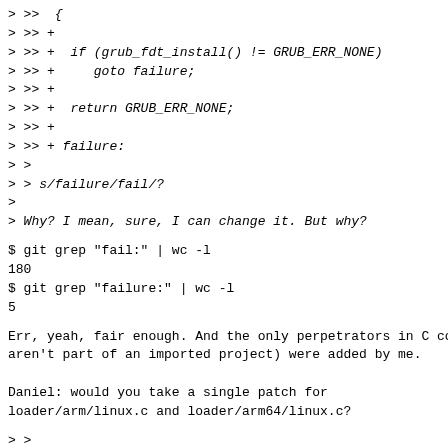> >>  {
> >> +
> >> +  if (grub_fdt_install() != GRUB_ERR_NONE)
> >> +     goto failure;
> >> +
> >> +  return GRUB_ERR_NONE;
> >> +
> >> + failure:
> >
> > s/failure/fail/?
>
> Why? I mean, sure, I can change it. But why?
$ git grep "fail:" | wc -l
180
$ git grep "failure:" | wc -l
5
Err, yeah, fair enough. And the only perpetrators in C co
aren't part of an imported project) were added by me.

Daniel: would you take a single patch for
loader/arm/linux.c and loader/arm64/linux.c?
> >
> >> +  grub_fdt_unload();
> >
> > s/grub_fdt_unload()/grub_fdt_unload ()/ May I ask you
> > mistakes in the other patches too?
>
> Can you please write a checkpatch.pl on similar to ot...